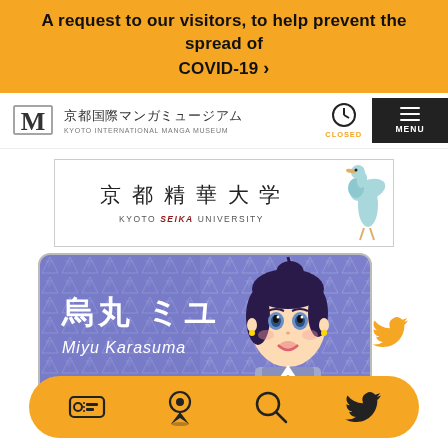A request to our visitors, to help prevent the spread of COVID-19 ›
[Figure (screenshot): Kyoto International Manga Museum logo with Japanese text 京都国際マンガミュージアム and English text KYOTO INTERNATIONAL MANGA MUSEUM, with clock icon showing CLOSED and MENU button]
[Figure (screenshot): Kyoto Seika University banner with Japanese text 京都精華大学 and English text KYOTO SEIKA UNIVERSITY with decorative bird illustration]
[Figure (illustration): Character card showing anime girl named 烏丸 ミユ / Miyu Karasuma on purple patterned background, with Twitter bird icon to the right]
[Figure (screenshot): Bottom navigation bar with ticket, map pin, search, and Twitter icons on orange background]